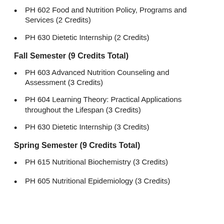PH 602 Food and Nutrition Policy, Programs and Services (2 Credits)
PH 630 Dietetic Internship (2 Credits)
Fall Semester (9 Credits Total)
PH 603 Advanced Nutrition Counseling and Assessment (3 Credits)
PH 604 Learning Theory: Practical Applications throughout the Lifespan (3 Credits)
PH 630 Dietetic Internship (3 Credits)
Spring Semester (9 Credits Total)
PH 615 Nutritional Biochemistry (3 Credits)
PH 605 Nutritional Epidemiology (3 Credits)